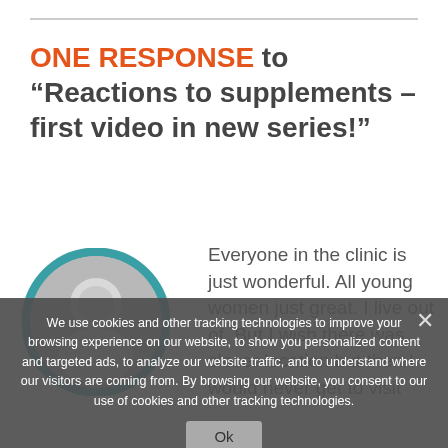ONE RESPONSE to “Reactions to supplements – first video in new series!”
[Figure (illustration): Generic user avatar icon: a teal/dark-teal circle outline with a gray filled circle representing a head and shoulders silhouette.]
Everyone in the clinic is just wonderful. All young women just great. I live out of. But I wish there was closer location but then I would never get to visit
We use cookies and other tracking technologies to improve your browsing experience on our website, to show you personalized content and targeted ads, to analyze our website traffic, and to understand where our visitors are coming from. By browsing our website, you consent to our use of cookies and other tracking technologies.